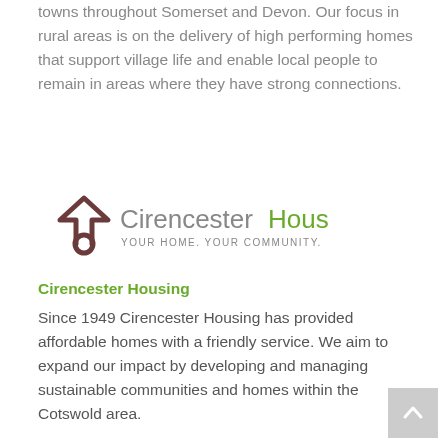towns throughout Somerset and Devon. Our focus in rural areas is on the delivery of high performing homes that support village life and enable local people to remain in areas where they have strong connections.
[Figure (logo): Cirencester Housing logo with house icon and tagline YOUR HOME. YOUR COMMUNITY.]
Cirencester Housing
Since 1949 Cirencester Housing has provided affordable homes with a friendly service. We aim to expand our impact by developing and managing sustainable communities and homes within the Cotswold area.